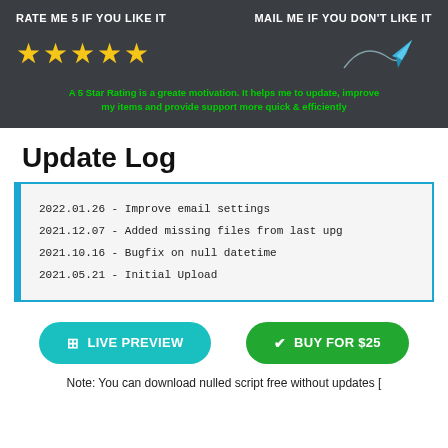[Figure (infographic): Dark banner with 'RATE ME 5 IF YOU LIKE IT' and five gold stars on the left, 'MAIL ME IF YOU DON'T LIKE IT' with a paper plane icon on the right, and a green motivational tagline below.]
Update Log
2022.01.26 - Improve email settings
2021.12.07 - Added missing files from last upg
2021.10.16 - Bugfix on null datetime
2021.05.21 - Initial Upload
[Figure (infographic): Two buttons: teal 'LIVE PREVIEW' button and green 'BUY FOR $25' button]
Note: You can download nulled script free without updates [